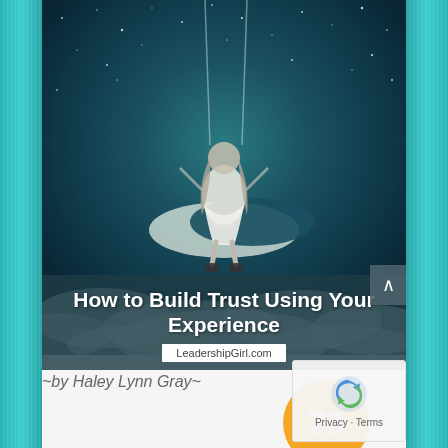[Figure (illustration): Surreal digital artwork: a girl in a white dress sitting on a crescent moon suspended by swing ropes against a dark teal starry night sky with white clouds below. Image is in desaturated teal tones.]
How to Build Trust Using Your Experience
LeadershipGirl.com
~by Haley Lynn Gray~
79